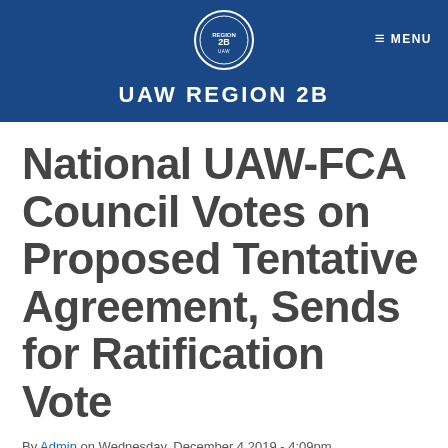[Figure (logo): UAW Region 2B circular logo in white on dark blue header background]
UAW REGION 2B
National UAW-FCA Council Votes on Proposed Tentative Agreement, Sends for Ratification Vote
By Admin on Wednesday, December 4 2019 - 4:09pm